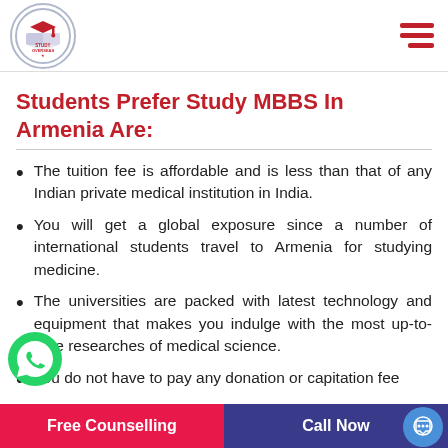Study Overseas logo and navigation menu
Students Prefer Study MBBS In Armenia Are:
The tuition fee is affordable and is less than that of any Indian private medical institution in India.
You will get a global exposure since a number of international students travel to Armenia for studying medicine.
The universities are packed with latest technology and equipment that makes you indulge with the most up-to-date researches of medical science.
You do not have to pay any donation or capitation fee
Free Counselling    Call Now